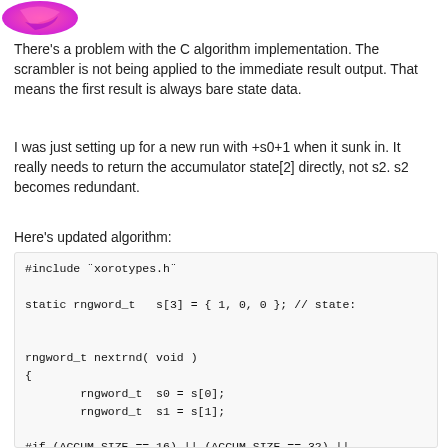[Figure (logo): Pink and purple abstract logo icon in top-left corner]
There's a problem with the C algorithm implementation. The scrambler is not being applied to the immediate result output. That means the first result is always bare state data.
I was just setting up for a new run with +s0+1 when it sunk in. It really needs to return the accumulator state[2] directly, not s2. s2 becomes redundant.
Here's updated algorithm:
#include "xorotypes.h"

static rngword_t   s[3] = { 1, 0, 0 }; // state:


rngword_t nextrnd( void )
{
        rngword_t  s0 = s[0];
        rngword_t  s1 = s[1];

#if (ACCUM_SIZE == 16) || (ACCUM_SIZE == 32) ||
        s[2] += rotl(s0 + s1, CONSTANT_D) + s0 ·
        s1 ^= s0;
        [0]       1(  0  CONSTANT 0 )      +(